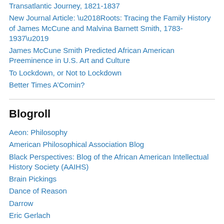Transatlantic Journey, 1821-1837
New Journal Article: ‘Roots: Tracing the Family History of James McCune and Malvina Barnett Smith, 1783-1937’
James McCune Smith Predicted African American Preeminence in U.S. Art and Culture
To Lockdown, or Not to Lockdown
Better Times A’Comin?
Blogroll
Aeon: Philosophy
American Philosophical Association Blog
Black Perspectives: Blog of the African American Intellectual History Society (AAIHS)
Brain Pickings
Dance of Reason
Darrow
Eric Gerlach
Fareed Zakaria
Feminist Philosophers